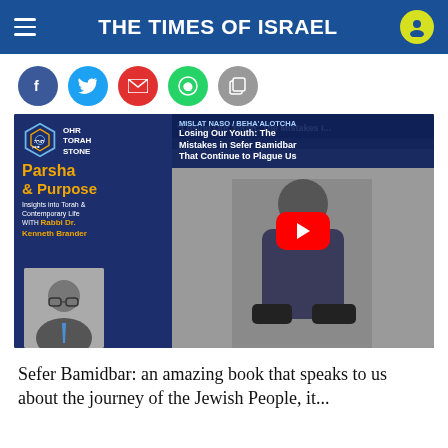THE TIMES OF ISRAEL
[Figure (screenshot): Social media sharing buttons: Facebook, Twitter, Email, WhatsApp, and copy/share icon]
[Figure (screenshot): YouTube video thumbnail for 'Losing Our Youth: The Mistakes in Sefer Bamidbar That Continue to Plague Us' by Rabbi Dr. Kenneth Brander, Ohr Torah Stone – Parsha & Purpose]
Sefer Bamidbar: an amazing book that speaks to us about the journey of the Jewish People, it...